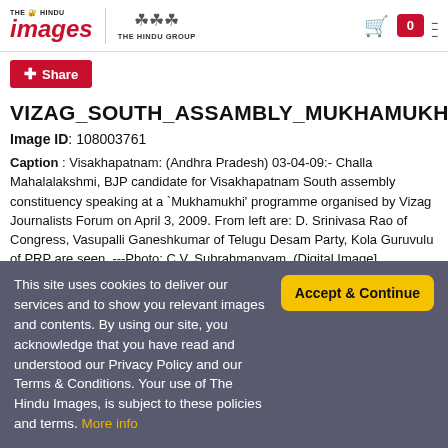THE HINDU IMAGES | THE HINDU GROUP | Cart: 0
Share
VIZAG_SOUTH_ASSAMBLY_MUKHAMUKHI
Image ID: 108003761
Caption : Visakhapatnam: (Andhra Pradesh) 03-04-09:- Challa Mahalalakshmi, BJP candidate for Visakhapatnam South assembly constituency speaking at a `Mukhamukhi' programme organised by Vizag Journalists Forum on April 3, 2009. From left are: D. Srinivasa Rao of Congress, Vasupalli Ganeshkumar of Telugu Desam Party, Kola Guruvulu of PRP are seen. ---Photo: C.V. Subrahmanyam. (Digital Image]
This site uses cookies to deliver our services and to show you relevant images and contents. By using our site, you acknowledge that you have read and understood our Privacy Policy and our Terms & Conditions. Your use of The Hindu Images, is subject to these policies and terms. More info | Accept & Continue